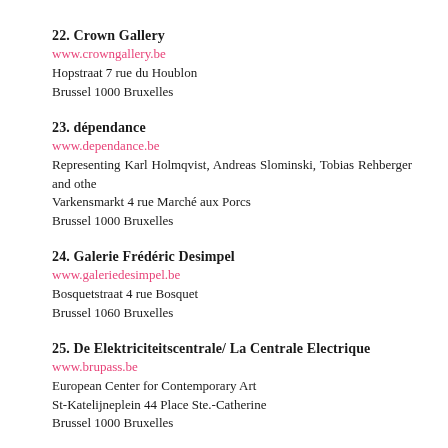22. Crown Gallery
www.crowngallery.be
Hopstraat 7 rue du Houblon
Brussel 1000 Bruxelles
23. dépendance
www.dependance.be
Representing Karl Holmqvist, Andreas Slominski, Tobias Rehberger and othe
Varkensmarkt 4 rue Marché aux Porcs
Brussel 1000 Bruxelles
24. Galerie Frédéric Desimpel
www.galeriedesimpel.be
Bosquetstraat 4 rue Bosquet
Brussel 1060 Bruxelles
25. De Elektriciteitscentrale/ La Centrale Electrique
www.brupass.be
European Center for Contemporary Art
St-Katelijneplein 44 Place Ste.-Catherine
Brussel 1000 Bruxelles
26. Etablissement d'en face
www.etablissementdenfaceprojects.org